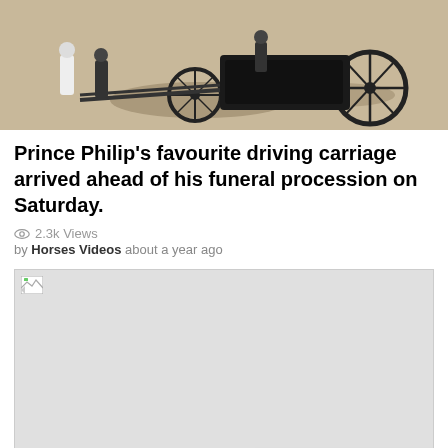[Figure (photo): Top portion of a photo showing a horse-drawn driving carriage on a sandy/gravel surface, with figures in white and dark clothing visible, and large spoked wheels.]
Prince Philip’s favourite driving carriage arrived ahead of his funeral procession on Saturday.
2.3k Views
by Horses Videos   about a year ago
[Figure (photo): A broken/unloaded image placeholder (grey rectangle with broken image icon in top-left corner).]
Privacy & Cookies Policy